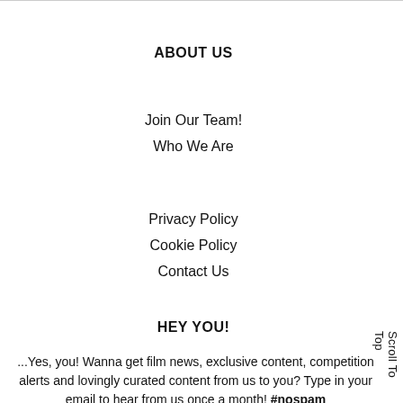ABOUT US
Join Our Team!
Who We Are
Privacy Policy
Cookie Policy
Contact Us
HEY YOU!
...Yes, you! Wanna get film news, exclusive content, competition alerts and lovingly curated content from us to you? Type in your email to hear from us once a month! #nospam